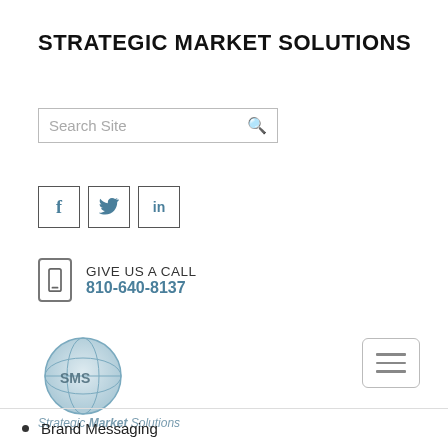STRATEGIC MARKET SOLUTIONS
[Figure (screenshot): Search site input box with placeholder text 'Search Site' and a magnifying glass icon on the right]
[Figure (infographic): Three social media icon buttons (Facebook, Twitter, LinkedIn) each in a square border]
[Figure (infographic): Phone/tablet icon with text 'GIVE US A CALL' and phone number '810-640-8137' in teal blue]
[Figure (logo): Strategic Market Solutions globe logo with 'SMS' letters, and text 'Strategic Market Solutions' below in grey-blue italic]
[Figure (screenshot): Hamburger menu button (three horizontal lines) in a rounded rectangle border]
Brand Messaging